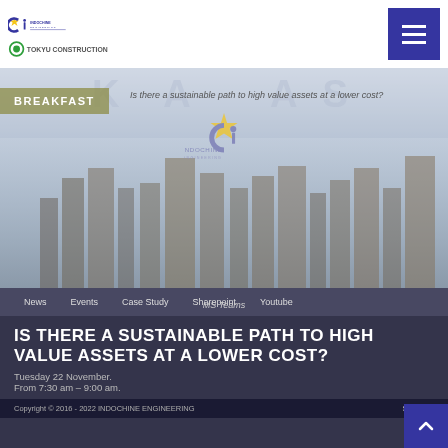[Figure (logo): Indochine Engineering / Tokyu Construction logo in header]
[Figure (screenshot): Hero banner with city skyline, BREAKFAST label, subtitle 'Is there a sustainable path to high value assets at a lower cost?', Indochine Engineering center logo, and large faded 'KA AS' letters]
News   Events   Case Study   Sharepoint   Youtube
MS Teams
IS THERE A SUSTAINABLE PATH TO HIGH VALUE ASSETS AT A LOWER COST?
Tuesday 22 November.
From 7:30 am – 9:00 am.
Copyright © 2016 - 2022 INDOCHINE ENGINEERING   Site map